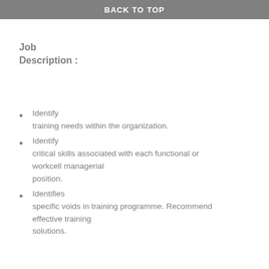BACK TO TOP
Job
Description :
Identify training needs within the organization.
Identify critical skills associated with each functional or workcell managerial position.
Identifies specific voids in training programme. Recommend effective training solutions.